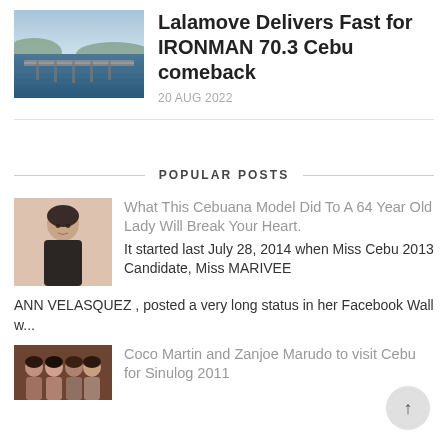[Figure (photo): Aerial photo of a bridge over water with hills in background]
Lalamove Delivers Fast for IRONMAN 70.3 Cebu comeback
20 AUG 2022
POPULAR POSTS
[Figure (photo): Woman in black clothing seated indoors]
What This Cebuana Model Did To A 64 Year Old Lady Will Break Your Heart.
It started last July 28, 2014 when Miss Cebu 2013 Candidate, Miss MARIVEE ANN VELASQUEZ , posted a very long status in her Facebook Wall w...
[Figure (photo): Group of women posing, event photo]
Coco Martin and Zanjoe Marudo to visit Cebu for Sinulog 2011